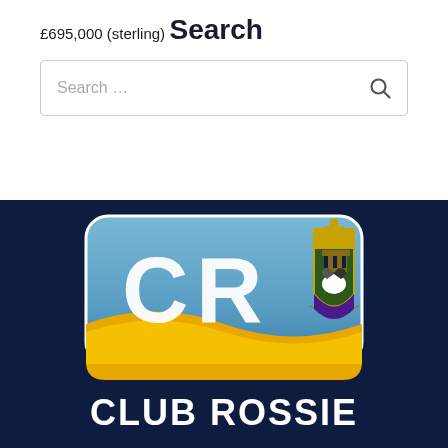£695,000 (sterling)
Search
Search …
[Figure (logo): Club Rossie logo: blue rounded rectangle with 'CR' letters and county crest, yellow wave at bottom, text CLUB ROSSIE below on dark navy background]